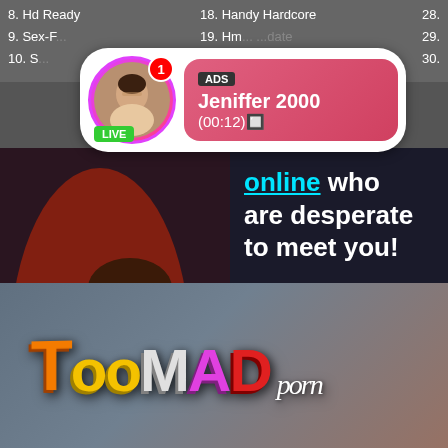8. Hd Ready
9. Sex-F...
10. S...
18. Handy Hardcore
19. Hm... ...date
28.
29.
30.
[Figure (infographic): Ad popup bubble with circular avatar photo of a woman, red notification badge with number 1, green LIVE badge, pink gradient background showing ADS label, name Jeniffer 2000, and timestamp (00:12)]
[Figure (photo): Woman with long red hair wearing black clothing, photograph used in advertisement]
online who are desperate to meet you!
[Figure (infographic): Cyan/turquoise button reading VIEW PROFILES]
[Figure (logo): TooMad porn logo with colorful 3D block letters: T in orange, oo in yellow, M in grey/white, A in purple/pink, D in red, followed by 'porn' in white italic text]